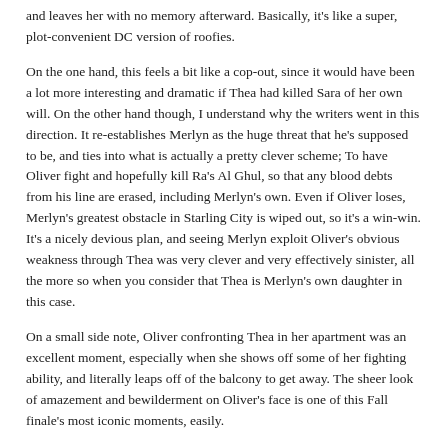and leaves her with no memory afterward. Basically, it's like a super, plot-convenient DC version of roofies.
On the one hand, this feels a bit like a cop-out, since it would have been a lot more interesting and dramatic if Thea had killed Sara of her own will. On the other hand though, I understand why the writers went in this direction. It re-establishes Merlyn as the huge threat that he's supposed to be, and ties into what is actually a pretty clever scheme; To have Oliver fight and hopefully kill Ra's Al Ghul, so that any blood debts from his line are erased, including Merlyn's own. Even if Oliver loses, Merlyn's greatest obstacle in Starling City is wiped out, so it's a win-win. It's a nicely devious plan, and seeing Merlyn exploit Oliver's obvious weakness through Thea was very clever and very effectively sinister, all the more so when you consider that Thea is Merlyn's own daughter in this case.
On a small side note, Oliver confronting Thea in her apartment was an excellent moment, especially when she shows off some of her fighting ability, and literally leaps off of the balcony to get away. The sheer look of amazement and bewilderment on Oliver's face is one of this Fall finale's most iconic moments, easily.